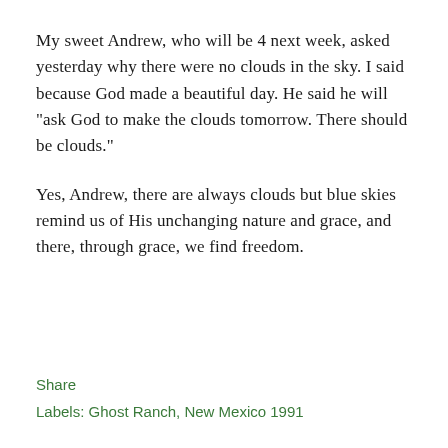My sweet Andrew, who will be 4 next week, asked yesterday why there were no clouds in the sky. I said because God made a beautiful day. He said he will "ask God to make the clouds tomorrow. There should be clouds."
Yes, Andrew, there are always clouds but blue skies remind us of His unchanging nature and grace, and there, through grace, we find freedom.
Share
Labels: Ghost Ranch, New Mexico 1991